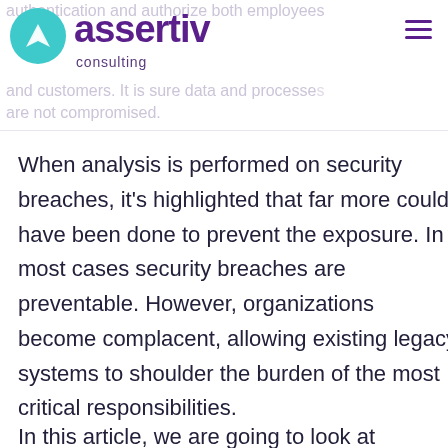assertiv consulting
When analysis is performed on security breaches, it's highlighted that far more could have been done to prevent the exposure. In most cases security breaches are preventable. However, organizations become complacent, allowing existing legacy systems to shoulder the burden of the most critical responsibilities.
In this article, we are going to look at different